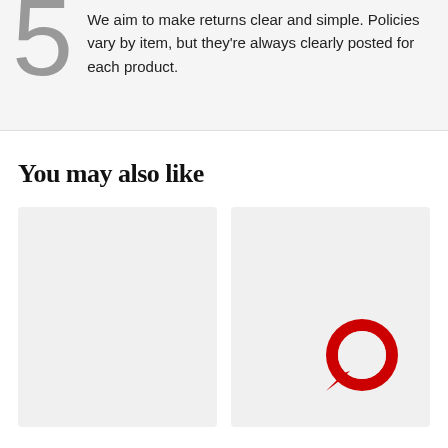We aim to make returns clear and simple. Policies vary by item, but they're always clearly posted for each product.
You may also like
[Figure (other): Two product placeholder cards side by side; the right card contains a red speech-bubble/chat icon in the lower right corner]